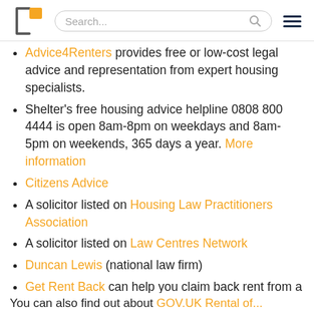[logo] Search... [hamburger menu]
Advice4Renters provides free or low-cost legal advice and representation from expert housing specialists.
Shelter's free housing advice helpline 0808 800 4444 is open 8am-8pm on weekdays and 8am-5pm on weekends, 365 days a year. More information
Citizens Advice
A solicitor listed on Housing Law Practitioners Association
A solicitor listed on Law Centres Network
Duncan Lewis (national law firm)
Get Rent Back can help you claim back rent from a negligent landlord
You can also find out about GOV.UK Rental of...